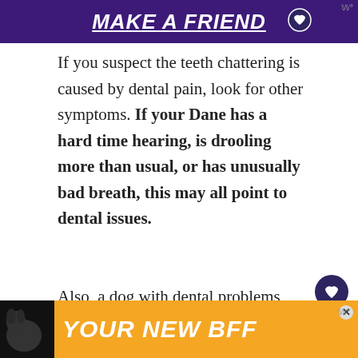[Figure (other): Purple advertisement banner at top with text 'MAKE A FRIEND' in white bold italic underlined font, with a woman and heart icon]
If you suspect the teeth chattering is caused by dental pain, look for other symptoms. If your Dane has a hard time hearing, is drooling more than usual, or has unusually bad breath, this may all point to dental issues.
Also, a dog with dental problems may have red or bleeding gums. Look for signs of blood on their favorite toy or in their mouth.
[Figure (other): Orange advertisement banner at bottom with a dog silhouette and text 'YOUR NEW BFF']